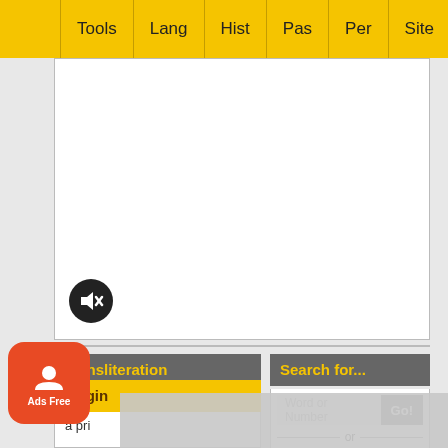Tools | Lang | Hist | Pas | Per | Site
[Figure (screenshot): White content area with mute/audio icon button (black circle with speaker-off symbol)]
Transliteration
gâva'
Phonetics
gaw-vah'
[Figure (other): Play button icon (triangle inside rounded rectangle border)]
Search for...
Word or Number
Go!
or
Choose a letter to browse:
א ב ג ד ה ו ז ח
ט י כ ל מ נ ס ע
פ צ ק ר ש ת
Origin
a pri
[Figure (other): Ads Free button overlay - orange rounded square with person icon and 'Ads Free' text]